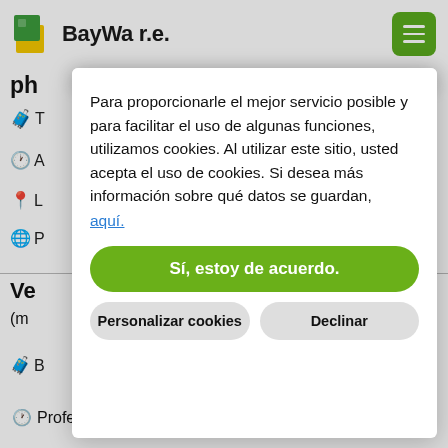[Figure (logo): BayWa r.e. company logo with green and yellow square icon]
ph
T
A
L
P
Ve
(m
B
Professionals
Para proporcionarle el mejor servicio posible y para facilitar el uso de algunas funciones, utilizamos cookies. Al utilizar este sitio, usted acepta el uso de cookies. Si desea más información sobre qué datos se guardan, aquí.
Sí, estoy de acuerdo.
Personalizar cookies
Declinar